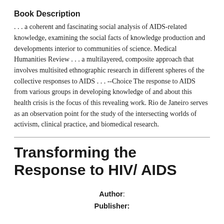Book Description
. . . a coherent and fascinating social analysis of AIDS-related knowledge, examining the social facts of knowledge production and developments interior to communities of science. Medical Humanities Review . . . a multilayered, composite approach that involves multisited ethnographic research in different spheres of the collective responses to AIDS . . . --Choice The response to AIDS from various groups in developing knowledge of and about this health crisis is the focus of this revealing work. Rio de Janeiro serves as an observation point for the study of the intersecting worlds of activism, clinical practice, and biomedical research.
Transforming the Response to HIV/ AIDS
Author:
Publisher: